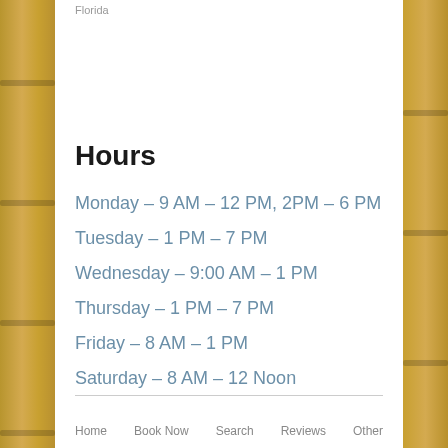Florida
Hours
Monday – 9 AM – 12 PM, 2PM – 6 PM
Tuesday – 1 PM – 7 PM
Wednesday – 9:00 AM – 1 PM
Thursday – 1 PM – 7 PM
Friday – 8 AM – 1 PM
Saturday – 8 AM – 12 Noon
Home  Book Now  Search  Reviews  Other